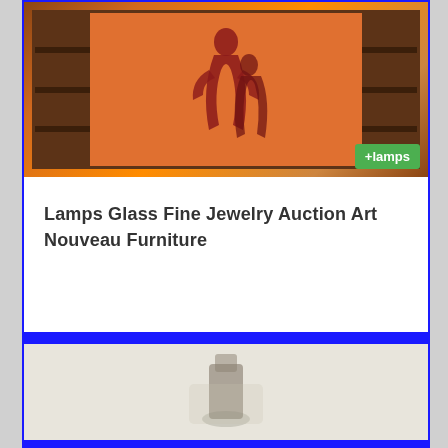[Figure (photo): Antique art nouveau furniture piece with decorative panels showing figures in an orange/amber tone, with dark wood shelving on sides. A green '+lamps' tag badge is overlaid in the bottom-right corner.]
Lamps Glass Fine Jewelry Auction Art Nouveau Furniture
[Figure (photo): Partial view of a glass or vase item on a light background, framed with a blue border.]